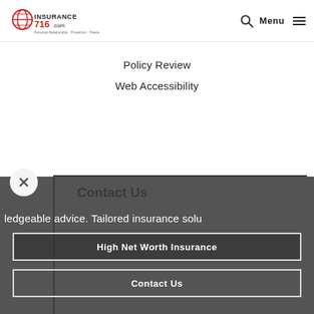[Figure (logo): Insurance716.com logo with globe icon and tagline: Personal Relationship. Protection. Peace of Mind.]
Menu
Policy Review
Web Accessibility
Contact Us
ledgeable advice. Tailored insurance solu
High Net Worth Insurance
Contact Us